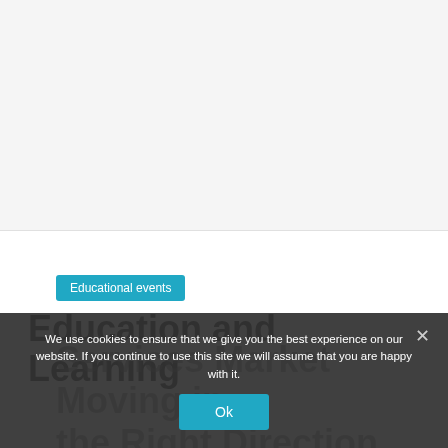[Figure (other): Gray empty placeholder area at the top of the page]
Educational events
Education and Learning Services Market Moving in the Right Direction –
We use cookies to ensure that we give you the best experience on our website. If you continue to use this site we will assume that you are happy with it.
Ok